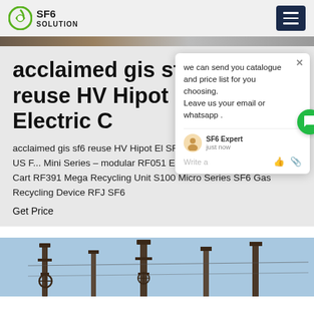SF6 SOLUTION
[Figure (screenshot): Top partial image strip of industrial equipment]
acclaimed gis sf6 reuse HV Hipot Electric C...
acclaimed gis sf6 reuse HV Hipot Electric ... SF6 Service Cart Home About US ... Mini Series – modular RF051 Econo... SF6 Gas Handling Cart RF391 Mega... Recycling Unit S100 Micro Series SF6 Gas Recycling Device RFJ SF6
Get Price
[Figure (screenshot): Chat popup overlay with message: we can send you catalogue and price list for you choosing. Leave us your email or whatsapp. SF6 Expert just now. Write a...]
[Figure (photo): Bottom photo of industrial high-voltage equipment and towers against blue sky]